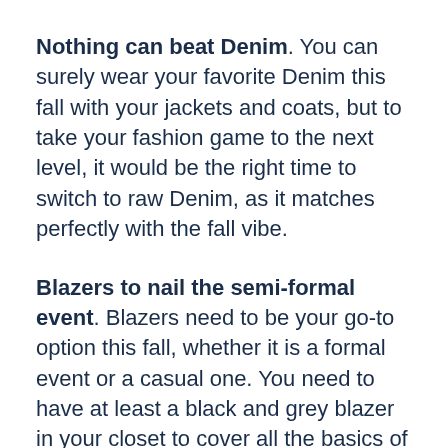Nothing can beat Denim. You can surely wear your favorite Denim this fall with your jackets and coats, but to take your fashion game to the next level, it would be the right time to switch to raw Denim, as it matches perfectly with the fall vibe.
Blazers to nail the semi-formal event. Blazers need to be your go-to option this fall, whether it is a formal event or a casual one. You need to have at least a black and grey blazer in your closet to cover all the basics of fall